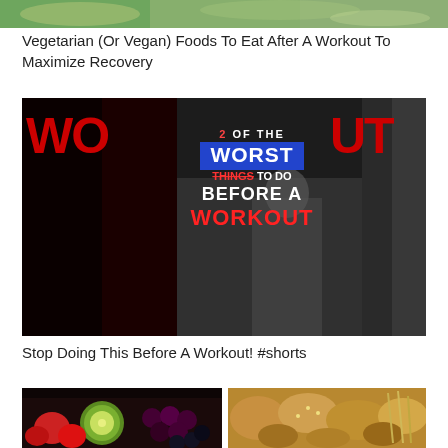[Figure (photo): Partial top strip of vegetarian/vegan foods image — green produce visible]
Vegetarian (Or Vegan) Foods To Eat After A Workout To Maximize Recovery
[Figure (photo): Dark gym/workout video thumbnail with large red 'WORKOUT' text on left, overlay text reading '2 OF THE WORST THINGS TO DO BEFORE A WORKOUT' in center, person flexing visible in middle]
Stop Doing This Before A Workout! #shorts
[Figure (photo): Two side-by-side thumbnail images at bottom: left shows colorful fruits (strawberries, kiwi, grapes, blackberries), right shows breads, pretzels, and grains]